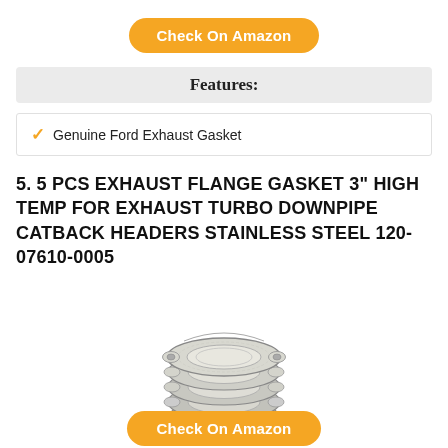Check On Amazon
Features:
Genuine Ford Exhaust Gasket
5. 5 PCS EXHAUST FLANGE GASKET 3" HIGH TEMP FOR EXHAUST TURBO DOWNPIPE CATBACK HEADERS STAINLESS STEEL 120-07610-0005
[Figure (photo): Stack of 5 stainless steel exhaust flange gaskets with 3-bolt pattern holes, shown in a pile]
Check On Amazon